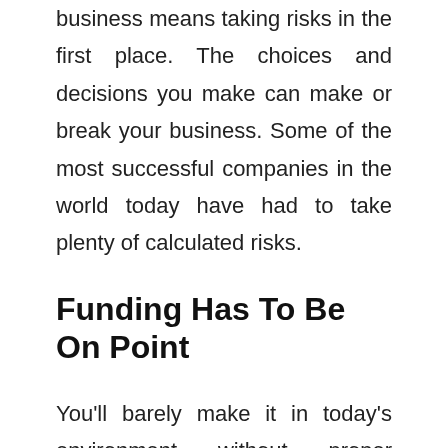business means taking risks in the first place. The choices and decisions you make can make or break your business. Some of the most successful companies in the world today have had to take plenty of calculated risks.
Funding Has To Be On Point
You'll barely make it in today's environment without proper funding. Well, there are many ways to raise funds, especially for a business that has started already. Some of these include business financing (loans), crowdfunding, and seeking partnership (investors). To become the winning startup business of the year, your financials have to be on point.